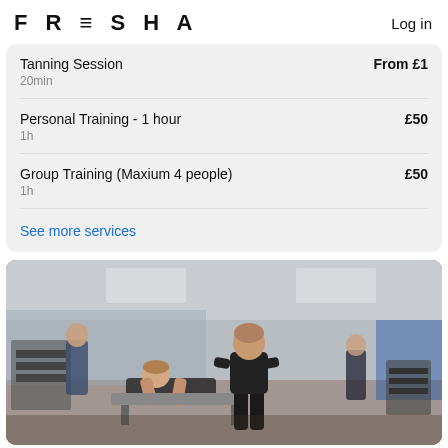FRESHA   Log in
Tanning Session   From £1
20min
Personal Training - 1 hour   £50
1h
Group Training (Maxium 4 people)   £50
1h
See more services
[Figure (photo): A gym scene showing a personal trainer in a black t-shirt standing over a client who is exercising on a bench, with other gym-goers and equipment visible in the background.]